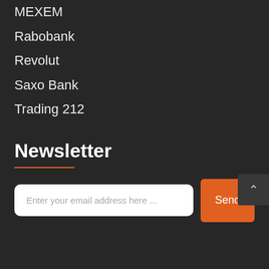MEXEM
Rabobank
Revolut
Saxo Bank
Trading 212
Newsletter
Enter your email address here ...
Send